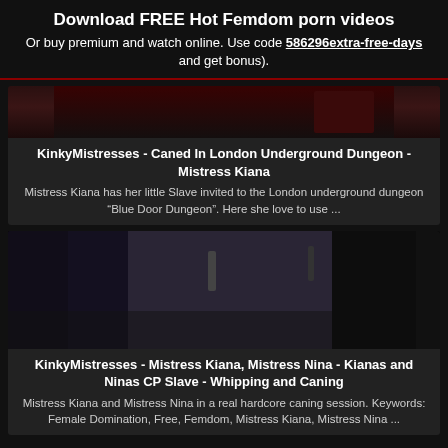Download FREE Hot Femdom porn videos
Or buy premium and watch online. Use code 586296extra-free-days and get bonus).
[Figure (photo): Partially visible video thumbnail showing a dungeon scene]
KinkyMistresses - Caned In London Underground Dungeon - Mistress Kiana
Mistress Kiana has her little Slave invited to the London underground dungeon “Blue Door Dungeon”. Here she love to use ...
[Figure (photo): Video thumbnail showing a woman in black leather outfit with a cane standing over a person in a dungeon setting]
KinkyMistresses - Mistress Kiana, Mistress Nina - Kianas and Ninas CP Slave - Whipping and Caning
Mistress Kiana and Mistress Nina in a real hardcore caning session. Keywords: Female Domination, Free, Femdom, Mistress Kiana, Mistress Nina ...